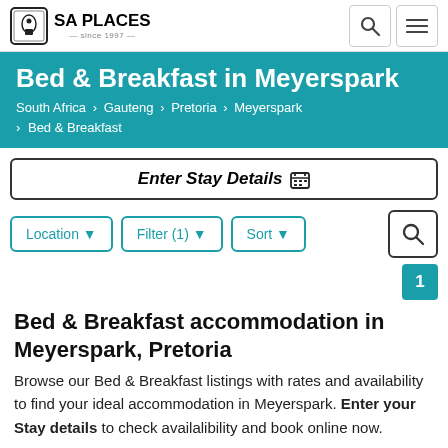SA PLACES — since 1997 —
Bed & Breakfast in Meyerspark
South Africa › Gauteng › Pretoria › Meyerspark › Bed & Breakfast
Enter Stay Details 🗓
Location ▼   Filter (1) ▼   Sort ▼
1
Bed & Breakfast accommodation in Meyerspark, Pretoria
Browse our Bed & Breakfast listings with rates and availability to find your ideal accommodation in Meyerspark. Enter your Stay details to check availalibility and book online now.